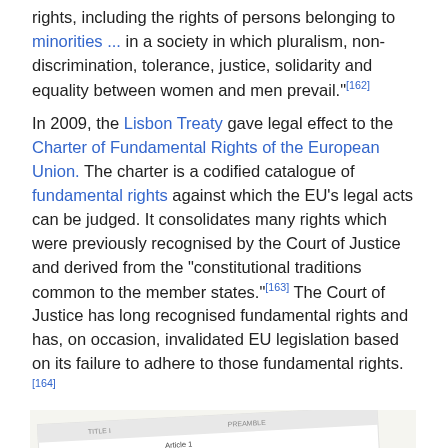rights, including the rights of persons belonging to minorities ... in a society in which pluralism, non-discrimination, tolerance, justice, solidarity and equality between women and men prevail."[162]
In 2009, the Lisbon Treaty gave legal effect to the Charter of Fundamental Rights of the European Union. The charter is a codified catalogue of fundamental rights against which the EU's legal acts can be judged. It consolidates many rights which were previously recognised by the Court of Justice and derived from the "constitutional traditions common to the member states."[163] The Court of Justice has long recognised fundamental rights and has, on occasion, invalidated EU legislation based on its failure to adhere to those fundamental rights.[164]
[Figure (photo): A photograph of a document page showing the Charter of Fundamental Rights of the European Union, with visible text including 'Human dignity' (Article 1) and 'Right to life' (Article 2), shown at an angle.]